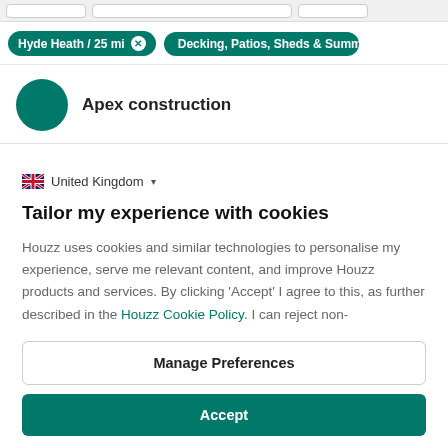Hyde Heath / 25 mi  ×    Decking, Patios, Sheds & Summershou
Apex construction
🇬🇧 United Kingdom ▾
Tailor my experience with cookies
Houzz uses cookies and similar technologies to personalise my experience, serve me relevant content, and improve Houzz products and services. By clicking 'Accept' I agree to this, as further described in the Houzz Cookie Policy. I can reject non-
Manage Preferences
Accept